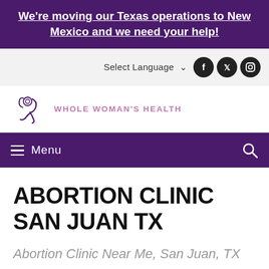We're moving our Texas operations to New Mexico and we need your help!
Select Language
ABORTION CLINIC SAN JUAN TX
Abortion Clinic Near Me, San Juan, TX